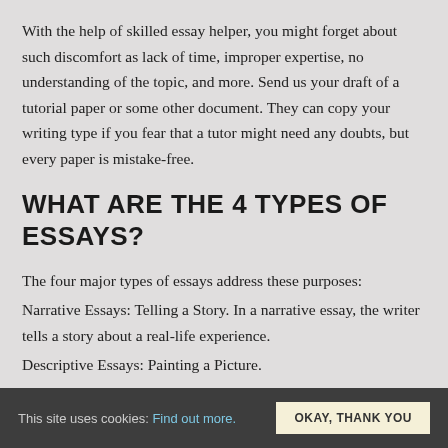With the help of skilled essay helper, you might forget about such discomfort as lack of time, improper expertise, no understanding of the topic, and more. Send us your draft of a tutorial paper or some other document. They can copy your writing type if you fear that a tutor might need any doubts, but every paper is mistake-free.
WHAT ARE THE 4 TYPES OF ESSAYS?
The four major types of essays address these purposes:
Narrative Essays: Telling a Story. In a narrative essay, the writer tells a story about a real-life experience.
Descriptive Essays: Painting a Picture.
Expository Essays: Just the Facts.
This site uses cookies: Find out more. OKAY, THANK YOU